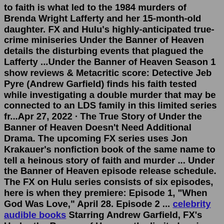to faith is what led to the 1984 murders of Brenda Wright Lafferty and her 15-month-old daughter. FX and Hulu's highly-anticipated true-crime miniseries Under the Banner of Heaven details the disturbing events that plagued the Lafferty ...Under the Banner of Heaven Season 1 show reviews & Metacritic score: Detective Jeb Pyre (Andrew Garfield) finds his faith tested while investigating a double murder that may be connected to an LDS family in this limited series fr...Apr 27, 2022 · The True Story of Under the Banner of Heaven Doesn't Need Additional Drama. The upcoming FX series uses Jon Krakauer's nonfiction book of the same name to tell a heinous story of faith and murder ... Under the Banner of Heaven episode release schedule. The FX on Hulu series consists of six episodes, here is when they premiere: Episode 1, "When God Was Love," April 28. Episode 2 ... celebrity audible books Starring Andrew Garfield, FX's Under the Banner of Heaven, the limited series inspired by the bestseller by Jon Krakauer, follows the murder of Brenda Wright